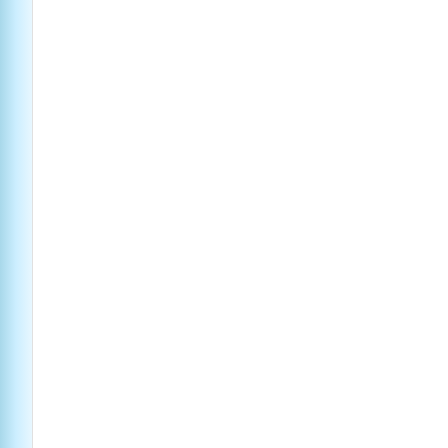“I thought of that as well in… that not everything had been… that error. When we make st… and that we can tell everyon… error in this institution.”
Another example from Glad… percentage of their musician… by placing a screen between… Gladwell maintains that the… altered to allow their judgm…
“Well, that story is a wonde… maestros are like highly ski… enormous experience, who b… course of musical history, th… women get in the way of the… the question is, what can we… about why errors happen an… situation in which they are m…
“Well, the first sort of obvio… understanding the sources o… of expert judgment. When y… all share this trait that so mu… level that they are not very g… explaining how they make d…
Dr. Gawande followed; with… outcomes with providers wh… focusing research and interv… need to pursue innovation, in…